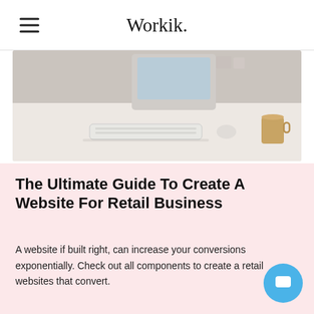Workik.
[Figure (photo): A white desk with a computer monitor, keyboard, and a mug, shot from above at an angle. The scene is bright and minimalistic.]
The Ultimate Guide To Create A Website For Retail Business
A website if built right, can increase your conversions exponentially. Check out all components to create a retail websites that convert.